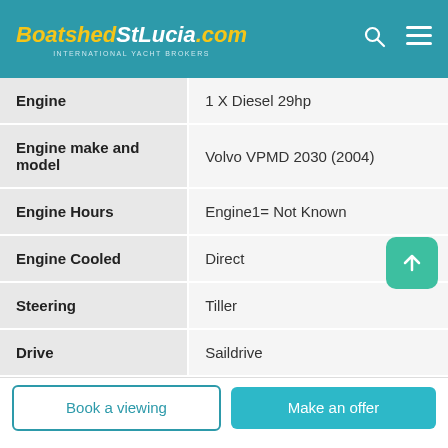BoatshedStLucia.com — INTERNATIONAL YACHT BROKERS
| Attribute | Value |
| --- | --- |
| Engine | 1 X Diesel 29hp |
| Engine make and model | Volvo VPMD 2030 (2004) |
| Engine Hours | Engine1= Not Known |
| Engine Cooled | Direct |
| Steering | Tiller |
| Drive | Saildrive |
Book a viewing
Make an offer